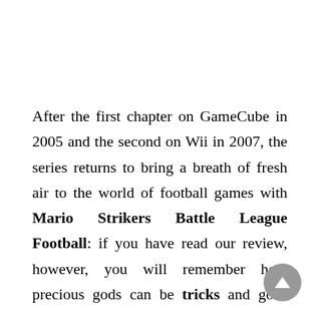After the first chapter on GameCube in 2005 and the second on Wii in 2007, the series returns to bring a breath of fresh air to the world of football games with Mario Strikers Battle League Football: if you have read our review, however, you will remember how precious gods can be tricks and gods advice for beginners. Fifteen years after the last opening, now the Olympic stadium of Nintendo and Next Level Games is ready to welcome new children. The tutorial gives you a smattering of the basics, but everything that